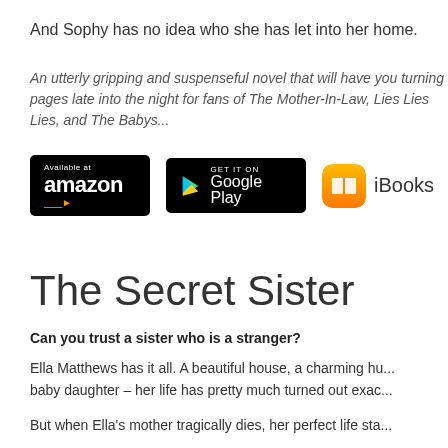And Sophy has no idea who she has let into her home.
An utterly gripping and suspenseful novel that will have you turning pages late into the night for fans of The Mother-In-Law, Lies Lies Lies, and The Babys...
[Figure (logo): Amazon, Google Play, iBooks, and another app store badges/logos]
The Secret Sister
Can you trust a sister who is a stranger?
Ella Matthews has it all. A beautiful house, a charming hu... baby daughter – her life has pretty much turned out exac...
But when Ella's mother tragically dies, her perfect life sta...